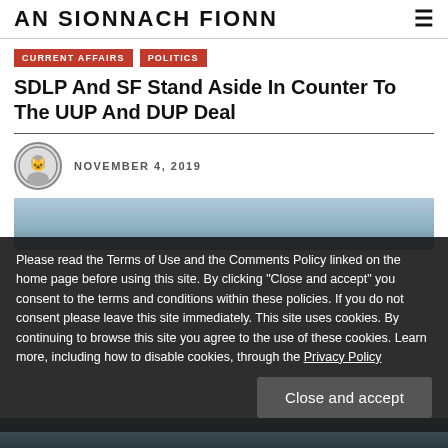AN SIONNACH FIONN
CURRENT AFFAIRS  POLITICS
SDLP And SF Stand Aside In Counter To The UUP And DUP Deal
NOVEMBER 4, 2019
[Figure (photo): Background photo partially visible behind cookie consent overlay]
Please read the Terms of Use and the Comments Policy linked on the home page before using this site. By clicking "Close and accept" you consent to the terms and conditions within these policies. If you do not consent please leave this site immediately. This site uses cookies. By continuing to browse this site you agree to the use of these cookies. Learn more, including how to disable cookies, through the Privacy Policy
Close and accept